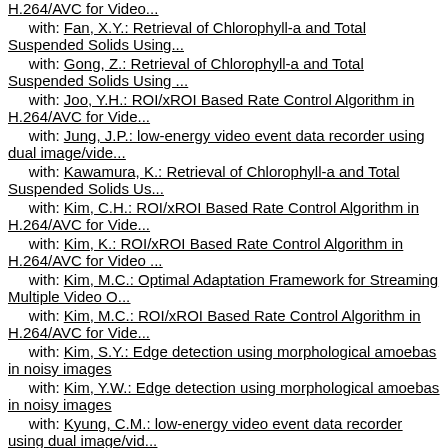H.264/AVC for Video...
with: Fan, X.Y.: Retrieval of Chlorophyll-a and Total Suspended Solids Using...
with: Gong, Z.: Retrieval of Chlorophyll-a and Total Suspended Solids Using ...
with: Joo, Y.H.: ROI/xROI Based Rate Control Algorithm in H.264/AVC for Vide...
with: Jung, J.P.: low-energy video event data recorder using dual image/vide...
with: Kawamura, K.: Retrieval of Chlorophyll-a and Total Suspended Solids Us...
with: Kim, C.H.: ROI/xROI Based Rate Control Algorithm in H.264/AVC for Vide...
with: Kim, K.: ROI/xROI Based Rate Control Algorithm in H.264/AVC for Video ...
with: Kim, M.C.: Optimal Adaptation Framework for Streaming Multiple Video O...
with: Kim, M.C.: ROI/xROI Based Rate Control Algorithm in H.264/AVC for Vide...
with: Kim, S.Y.: Edge detection using morphological amoebas in noisy images
with: Kim, Y.W.: Edge detection using morphological amoebas in noisy images
with: Kyung, C.M.: low-energy video event data recorder using dual image/vid...
with: Lee, J.: low-energy video event data recorder using...